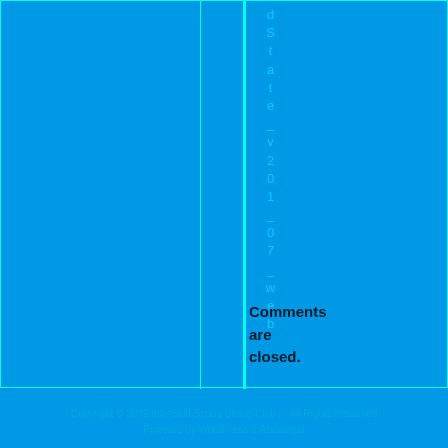dState_v201_07_web
Comments are closed.
Copyright © 2022 InterSkiff Scuba Diving Club | - All Rights Reserved
Powered by WordPress & Atahualpa